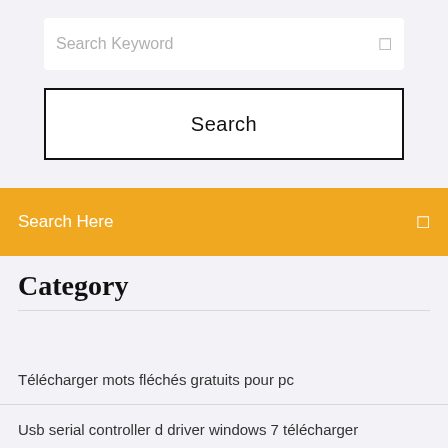Search Keyword
Search
Search Here
Category
Télécharger mots fléchés gratuits pour pc
Usb serial controller d driver windows 7 télécharger
Télécharger advanced archive password recovery 4.53 complete version